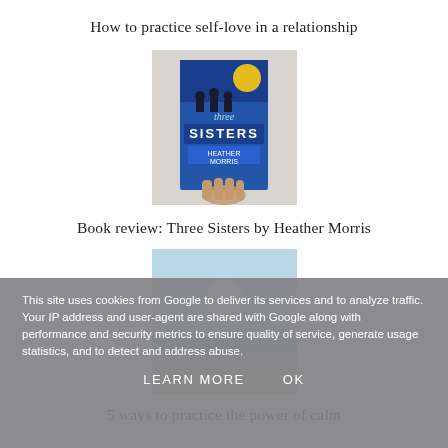How to practice self-love in a relationship
[Figure (photo): Hand holding a book titled 'Three Sisters' by Heather Morris with a blue cover]
Book review: Three Sisters by Heather Morris
[Figure (photo): A beach scene with bright sunlight, calm water, and a sandy shore under a clear sky]
5 ways to practice the power of calm
This site uses cookies from Google to deliver its services and to analyze traffic. Your IP address and user-agent are shared with Google along with performance and security metrics to ensure quality of service, generate usage statistics, and to detect and address abuse.
LEARN MORE    OK